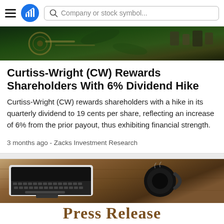Company or stock symbol...
[Figure (photo): Close-up photo of mechanical/industrial equipment with green tones and metallic components]
Curtiss-Wright (CW) Rewards Shareholders With 6% Dividend Hike
Curtiss-Wright (CW) rewards shareholders with a hike in its quarterly dividend to 19 cents per share, reflecting an increase of 6% from the prior payout, thus exhibiting financial strength.
3 months ago - Zacks Investment Research
[Figure (photo): Overhead view of a laptop keyboard and a black coffee mug on a wooden desk surface]
Press Release